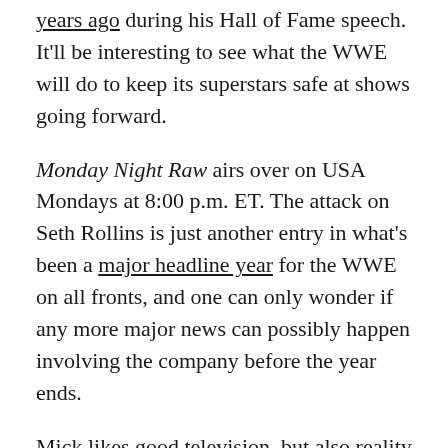years ago during his Hall of Fame speech. It'll be interesting to see what the WWE will do to keep its superstars safe at shows going forward.
Monday Night Raw airs over on USA Mondays at 8:00 p.m. ET. The attack on Seth Rollins is just another entry in what's been a major headline year for the WWE on all fronts, and one can only wonder if any more major news can possibly happen involving the company before the year ends.
Mick likes good television, but also reality television. He grew up on Star Wars, DC, Marvel, and pro wrestling and loves to discuss and dissect most of it. He's been writing online for over a decade and never dreamed he'd be in the position he is today.